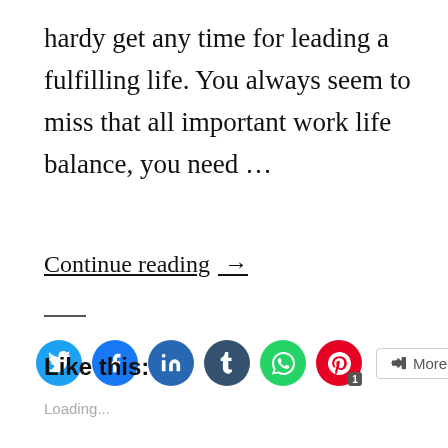hardy get any time for leading a fulfilling life. You always seem to miss that all important work life balance, you need …
Continue reading →
[Figure (infographic): Social sharing icons row: Twitter (blue), Facebook (blue), LinkedIn (dark blue), Tumblr (dark navy), WhatsApp (green), Pinterest (red) with badge '1', and a 'More' button]
Like this:
Loading...